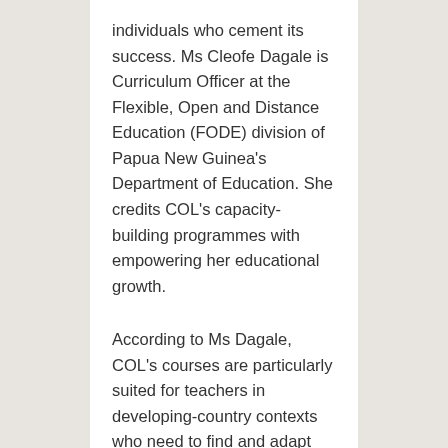individuals who cement its success. Ms Cleofe Dagale is Curriculum Officer at the Flexible, Open and Distance Education (FODE) division of Papua New Guinea's Department of Education. She credits COL's capacity-building programmes with empowering her educational growth.
According to Ms Dagale, COL's courses are particularly suited for teachers in developing-country contexts who need to find and adapt open resources for teaching online because of COVID disruptions.
With COL's support, Ms Dagale has built capacity in materials design and